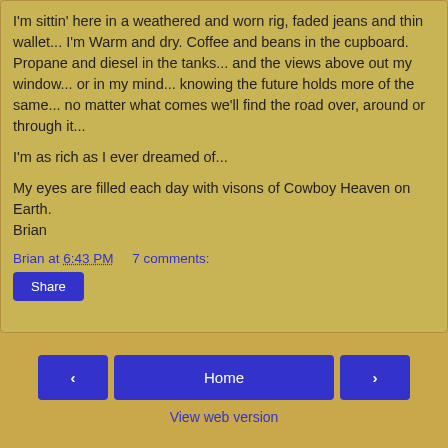I'm sittin' here in a weathered and worn rig, faded jeans and thin wallet... I'm Warm and dry. Coffee and beans in the cupboard. Propane and diesel in the tanks... and the views above out my window... or in my mind... knowing the future holds more of the same... no matter what comes we'll find the road over, around or through it...
I'm as rich as I ever dreamed of...
My eyes are filled each day with visons of Cowboy Heaven on Earth.
Brian
Brian at 6:43 PM    7 comments:
Share
Home
View web version